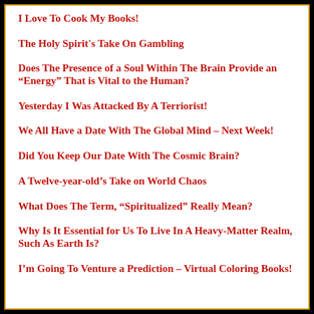I Love To Cook My Books!
The Holy Spirit's Take On Gambling
Does The Presence of a Soul Within The Brain Provide an “Energy” That is Vital to the Human?
Yesterday I Was Attacked By A Terriorist!
We All Have a Date With The Global Mind – Next Week!
Did You Keep Our Date With The Cosmic Brain?
A Twelve-year-old’s Take on World Chaos
What Does The Term, “Spiritualized” Really Mean?
Why Is It Essential for Us To Live In A Heavy-Matter Realm, Such As Earth Is?
I’m Going To Venture a Prediction – Virtual Coloring Books!